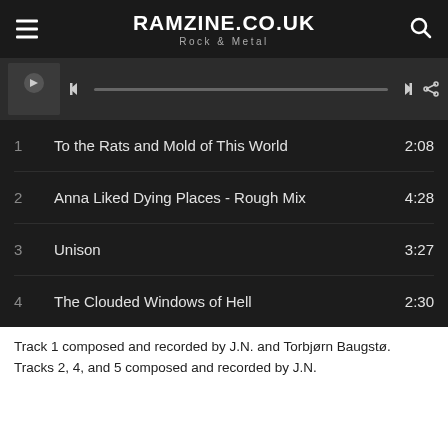RAMZINE.CO.UK Rock & Metal
[Figure (screenshot): Music player bar with album thumbnail, skip back button, progress bar, skip forward button, and share icon]
| # | Track | Duration |
| --- | --- | --- |
| 1 | To the Rats and Mold of This World | 2:08 |
| 2 | Anna Liked Dying Places - Rough Mix | 4:28 |
| 3 | Unison | 3:27 |
| 4 | The Clouded Windows of Hell | 2:30 |
Track 1 composed and recorded by J.N. and Torbjørn Baugstø.
Tracks 2, 4, and 5 composed and recorded by J.N.